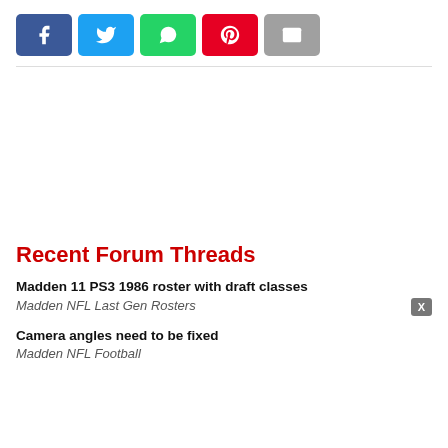[Figure (other): Social share buttons: Facebook (blue), Twitter (light blue), WhatsApp (green), Pinterest (red), Email (gray)]
Recent Forum Threads
Madden 11 PS3 1986 roster with draft classes
Madden NFL Last Gen Rosters
Camera angles need to be fixed
Madden NFL Football